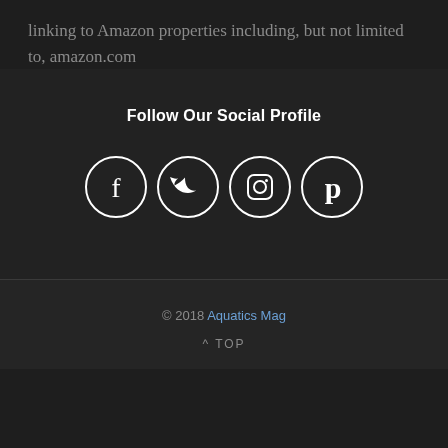linking to Amazon properties including, but not limited to, amazon.com
Follow Our Social Profile
[Figure (illustration): Four social media icons in circular outlines: Facebook (f), Twitter (bird), Instagram (camera), Pinterest (P)]
© 2018 Aquatics Mag
^ TOP